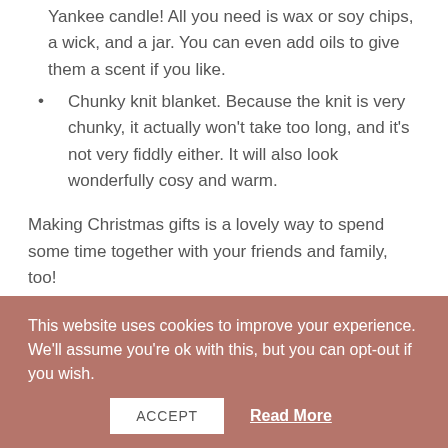Yankee candle! All you need is wax or soy chips, a wick, and a jar. You can even add oils to give them a scent if you like.
Chunky knit blanket. Because the knit is very chunky, it actually won't take too long, and it's not very fiddly either. It will also look wonderfully cosy and warm.
Making Christmas gifts is a lovely way to spend some time together with your friends and family, too!
Gift vouchers
If you want to make sure that your loved one gets a gift that they really want, then allow them to choose it
This website uses cookies to improve your experience. We'll assume you're ok with this, but you can opt-out if you wish.